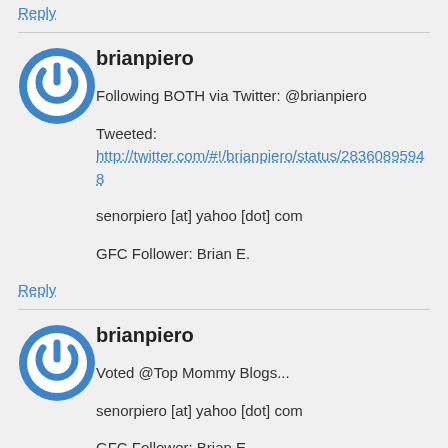Reply
[Figure (illustration): Blue circular power button avatar icon for user brianpiero]
brianpiero
Following BOTH via Twitter: @brianpiero

Tweeted:
http://twitter.com/#!/brianpiero/status/28360895948

senorpiero [at] yahoo [dot] com

GFC Follower: Brian E.
Reply
[Figure (illustration): Blue circular power button avatar icon for user brianpiero]
brianpiero
Voted @Top Mommy Blogs...

senorpiero [at] yahoo [dot] com

GFC Follower: Brian E.
Reply